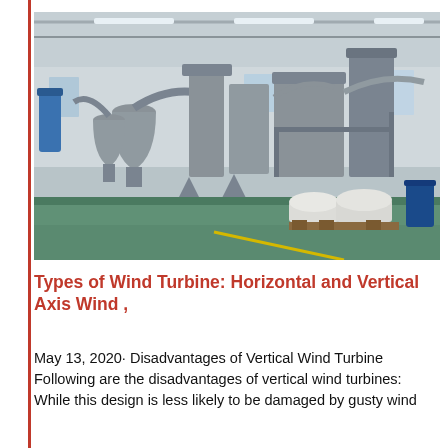[Figure (photo): Interior of an industrial factory/warehouse showing large grey metal processing machinery, cyclone separators, conveyors, and bulk bags of material on a green epoxy floor under a steel-truss roof with strip lighting.]
Types of Wind Turbine: Horizontal and Vertical Axis Wind ,
May 13, 2020· Disadvantages of Vertical Wind Turbine Following are the disadvantages of vertical wind turbines: While this design is less likely to be damaged by gusty wind